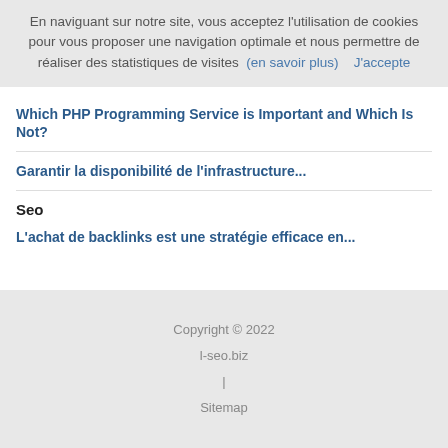En naviguant sur notre site, vous acceptez l'utilisation de cookies pour vous proposer une navigation optimale et nous permettre de réaliser des statistiques de visites  (en savoir plus)     J'accepte
Which PHP Programming Service is Important and Which Is Not?
Garantir la disponibilité de l'infrastructure...
Seo
L'achat de backlinks est une stratégie efficace en...
Copyright © 2022
l-seo.biz
|
Sitemap